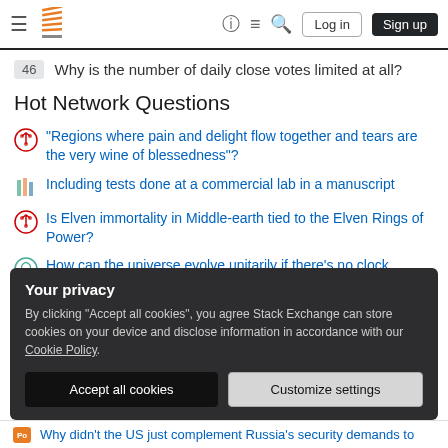Stack Exchange navigation bar with Log in and Sign up buttons
46  Why is the number of daily close votes limited at all?
Hot Network Questions
"Regions where pain and delight flow together and tears are the very wine of blessedness"?
Including tests done at a commercial lab in a manuscript
Is Elven immortality in Middle-earth tied to the Elven Rings of Power?
How can the universe evolve unitarily if there's no clock outside it?
Usage of passive in Summa Theologiae
Your privacy
By clicking "Accept all cookies", you agree Stack Exchange can store cookies on your device and disclose information in accordance with our Cookie Policy.
Accept all cookies  Customize settings
Why didn't the US just complement Russia's security demands to